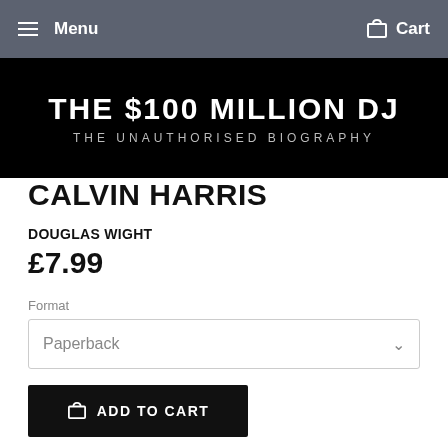Menu  Cart
[Figure (photo): Black background book cover image showing 'THE $100 MILLION DJ — THE UNAUTHORISED BIOGRAPHY']
CALVIN HARRIS
DOUGLAS WIGHT
£7.99
Format
Paperback
ADD TO CART